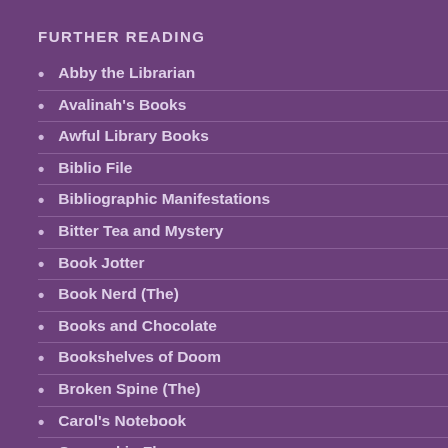FURTHER READING
Abby the Librarian
Avalinah's Books
Awful Library Books
Biblio File
Bibliographic Manifestations
Bitter Tea and Mystery
Book Jotter
Book Nerd (The)
Books and Chocolate
Bookshelves of Doom
Broken Spine (The)
Carol's Notebook
Covered in Flour
Cozy Burrow (The)
Great Kid Books